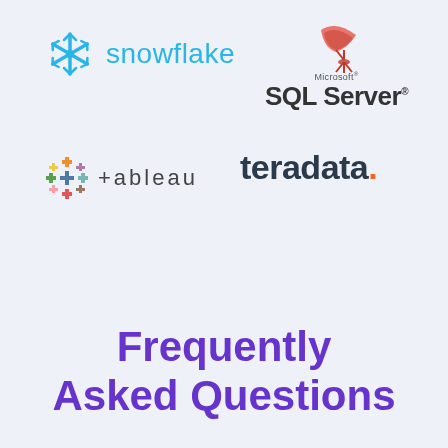[Figure (logo): Snowflake logo — blue snowflake icon followed by the word 'snowflake' in light blue text]
[Figure (logo): Microsoft SQL Server logo — red satellite dish icon above text reading 'Microsoft SQL Server']
[Figure (logo): Tableau logo — colorful plus-sign grid icon followed by '+tableau' in dark gray spaced letters]
[Figure (logo): Teradata logo — the word 'teradata.' in bold dark text with an orange period]
Frequently Asked Questions